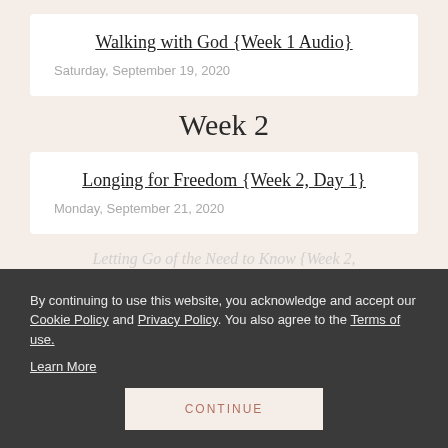Walking with God {Week 1 Audio}
Saturday, September 19, 2020
Week 2
Longing for Freedom {Week 2, Day 1}
Monday, September 21, 2020
By continuing to use this website, you acknowledge and accept our Cookie Policy and Privacy Policy. You also agree to the Terms of use.
Learn More
Letting Go of the Need to Know {Week 2, Day 2}
CONTINUE